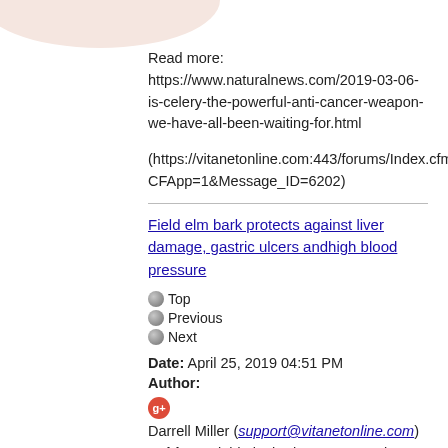Read more: https://www.naturalnews.com/2019-03-06-is-celery-the-powerful-anti-cancer-weapon-we-have-all-been-waiting-for.html
(https://vitanetonline.com:443/forums/Index.cfm?CFApp=1&Message_ID=6202)
Field elm bark protects against liver damage, gastric ulcers andhigh blood pressure
Top
Previous
Next
Date: April 25, 2019 04:51 PM
Author:
Darrell Miller (support@vitanetonline.com)
Subject: Field elm bark protects against liver damage, gastric ulcers andhigh blood pressure